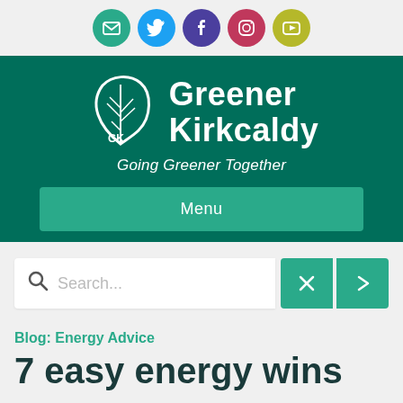[Figure (logo): Social media icons row: email (teal), Twitter (blue), Facebook (purple), Instagram (red/pink), YouTube (yellow-green)]
[Figure (logo): Greener Kirkcaldy logo with leaf icon and tagline 'Going Greener Together' on dark green background]
Menu
Search...
Blog: Energy Advice
7 easy energy wins